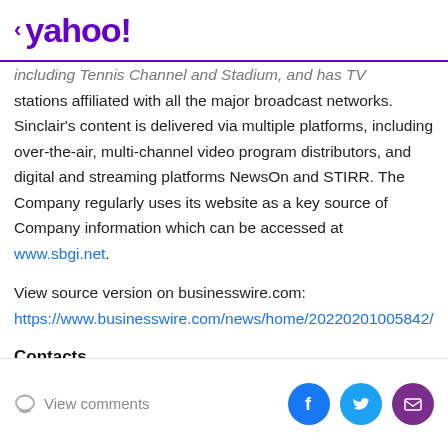< yahoo!
including Tennis Channel and Stadium, and has TV stations affiliated with all the major broadcast networks. Sinclair's content is delivered via multiple platforms, including over-the-air, multi-channel video program distributors, and digital and streaming platforms NewsOn and STIRR. The Company regularly uses its website as a key source of Company information which can be accessed at www.sbgi.net.
View source version on businesswire.com:
https://www.businesswire.com/news/home/20220201005842/en/
Contacts
View comments